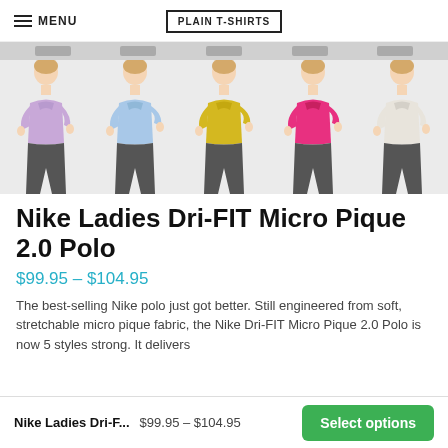MENU | PLAIN T-SHIRTS
[Figure (photo): Five women modeling the Nike Ladies Dri-FIT Micro Pique 2.0 Polo in different colors: lavender/purple, light blue, yellow/gold, pink/magenta, and white/cream]
Nike Ladies Dri-FIT Micro Pique 2.0 Polo
$99.95 – $104.95
The best-selling Nike polo just got better. Still engineered from soft, stretchable micro pique fabric, the Nike Dri-FIT Micro Pique 2.0 Polo is now 5 styles strong. It delivers
Nike Ladies Dri-F... $99.95 – $104.95 Select options